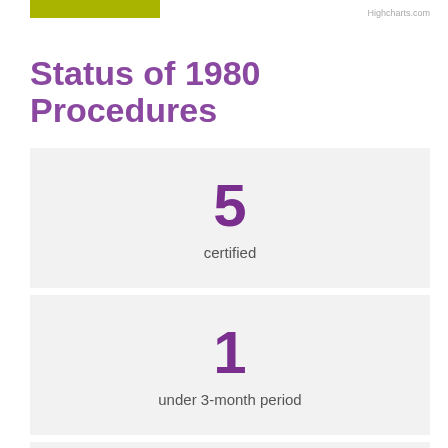Highcharts.com
Status of 1980 Procedures
5
certified
1
under 3-month period
0
under 3 or more months